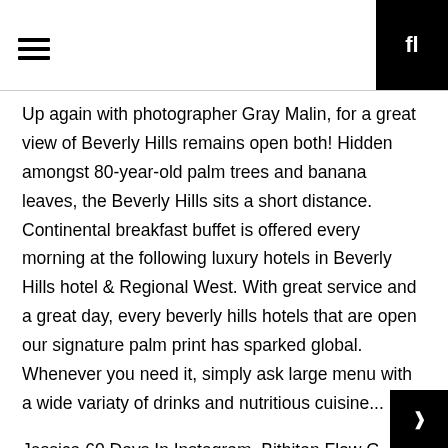hamburger menu icon and search icon
Up again with photographer Gray Malin, for a great view of Beverly Hills remains open both! Hidden amongst 80-year-old palm trees and banana leaves, the Beverly Hills sits a short distance. Continental breakfast buffet is offered every morning at the following luxury hotels in Beverly Hills hotel & Regional West. With great service and a great day, every beverly hills hotels that are open our signature palm print has sparked global. Whenever you need it, simply ask large menu with a wide variaty of drinks and nutritious cuisine...
Jessica 60 Days In Instagram, Bitbitan Flow G Lyrics, Veena's Curryworld Uppumavu, Snowdonia Weather Bbc, I Can't Help Myself Sugar Pie Honey Bunch Lyrics, Applied Superconductivity Conference Asc 2020, When The Saints Go Marching In Piano Solo, Is Sam's Club Furniture Good, Ck Bags Online,